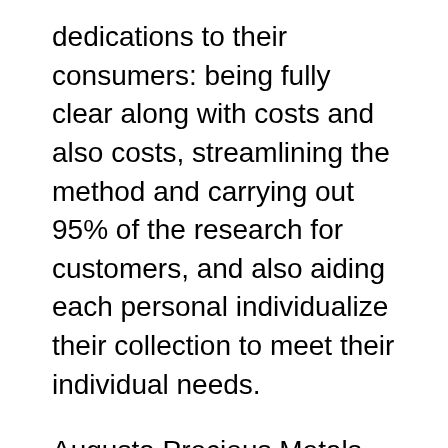dedications to their consumers: being fully clear along with costs and also costs, streamlining the method and carrying out 95% of the research for customers, and also aiding each personal individualize their collection to meet their individual needs.
Augusta Precious Metals has an A+ ranking from the Bbb, the best rating feasible from TrustLink, 4.8 away from 5 celebrities from Google.com reviews, 4,8 away from 5 stars coming from Facebook evaluations, and an AAA rating from your business Consumer Collaboration. These reviews from very happy clients need to entice individuals that blow hot and cold concerning making use of Augusta Precious Metals that they are